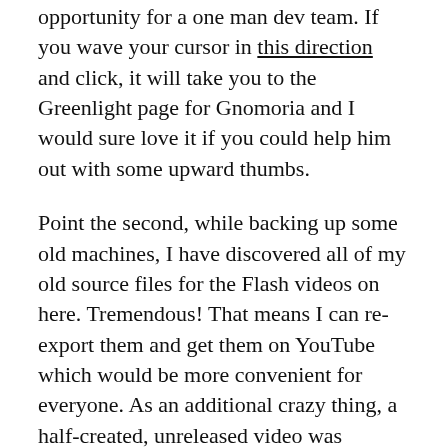opportunity for a one man dev team. If you wave your cursor in this direction and click, it will take you to the Greenlight page for Gnomoria and I would sure love it if you could help him out with some upward thumbs.
Point the second, while backing up some old machines, I have discovered all of my old source files for the Flash videos on here. Tremendous! That means I can re-export them and get them on YouTube which would be more convenient for everyone. As an additional crazy thing, a half-created, unreleased video was discovered which I will attempt to clean up and smooth over and get up here.  A brand new unreleased thing! Also, I have been tooling around in Unity in my off time on a few video game ideas. One of them is a Dungeon Keeper evolution but the announcement of Impire has muted my enthusiasm. More on those as they